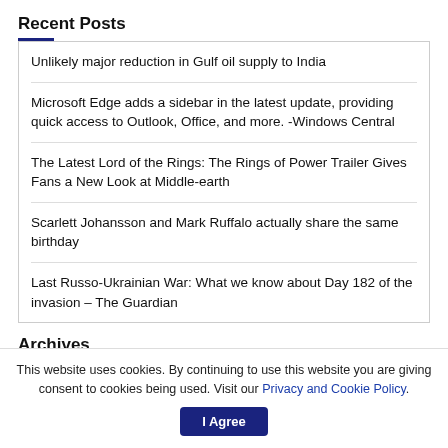Recent Posts
Unlikely major reduction in Gulf oil supply to India
Microsoft Edge adds a sidebar in the latest update, providing quick access to Outlook, Office, and more. -Windows Central
The Latest Lord of the Rings: The Rings of Power Trailer Gives Fans a New Look at Middle-earth
Scarlett Johansson and Mark Ruffalo actually share the same birthday
Last Russo-Ukrainian War: What we know about Day 182 of the invasion – The Guardian
Archives
This website uses cookies. By continuing to use this website you are giving consent to cookies being used. Visit our Privacy and Cookie Policy.
I Agree